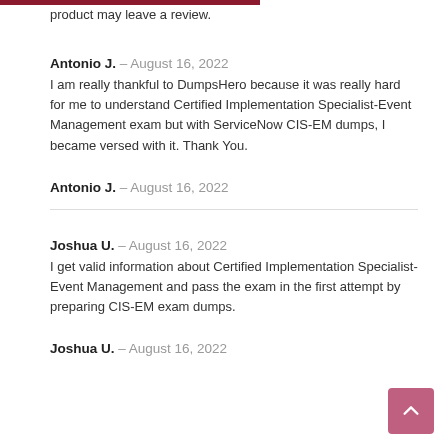product may leave a review.
Antonio J. – August 16, 2022
I am really thankful to DumpsHero because it was really hard for me to understand Certified Implementation Specialist-Event Management exam but with ServiceNow CIS-EM dumps, I became versed with it. Thank You.
Antonio J. – August 16, 2022
Joshua U. – August 16, 2022
I get valid information about Certified Implementation Specialist-Event Management and pass the exam in the first attempt by preparing CIS-EM exam dumps.
Joshua U. – August 16, 2022